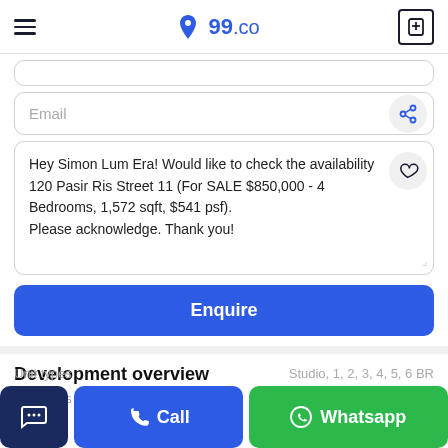99.co
Email
Hey Simon Lum Era! Would like to check the availability 120 Pasir Ris Street 11 (For SALE $850,000 - 4 Bedrooms, 1,572 sqft, $541 psf).
Please acknowledge. Thank you!
Enquire
Development overview
Unit types
Studio, 1, 2, 3, 4, 5, 6 BR